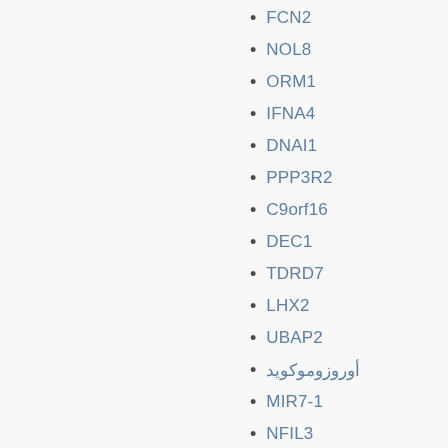FCN2
NOL8
ORM1
IFNA4
DNAI1
PPP3R2
C9orf16
DEC1
TDRD7
LHX2
UBAP2
أوروزوموكويد
MIR7-1
NFIL3